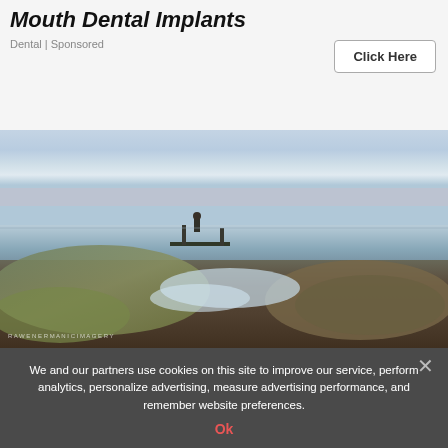Mouth Dental Implants
Dental | Sponsored
[Figure (photo): Coastal seascape at dusk showing rocky shoreline covered in seaweed and moss, with misty water flowing over rocks, a person standing on a small pier or platform in the middle distance, and a blue-pink twilight sky over the ocean horizon. Watermark text visible in lower left corner.]
We and our partners use cookies on this site to improve our service, perform analytics, personalize advertising, measure advertising performance, and remember website preferences.
Ok